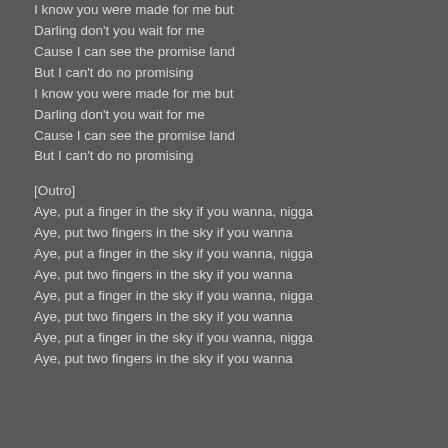I know you were made for me but
Darling don't you wait for me
Cause I can see the promise land
But I can't do no promising
I know you were made for me but
Darling don't you wait for me
Cause I can see the promise land
But I can't do no promising
[Outro]
Aye, put a finger in the sky if you wanna, nigga
Aye, put two fingers in the sky if you wanna
Aye, put a finger in the sky if you wanna, nigga
Aye, put two fingers in the sky if you wanna
Aye, put a finger in the sky if you wanna, nigga
Aye, put two fingers in the sky if you wanna
Aye, put a finger in the sky if you wanna, nigga
Aye, put two fingers in the sky if you wanna